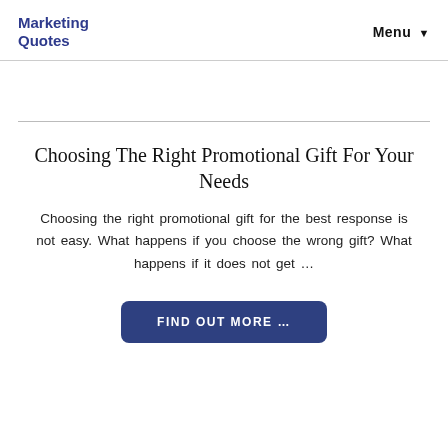Marketing Quotes
Menu
Choosing The Right Promotional Gift For Your Needs
Choosing the right promotional gift for the best response is not easy. What happens if you choose the wrong gift? What happens if it does not get …
FIND OUT MORE …